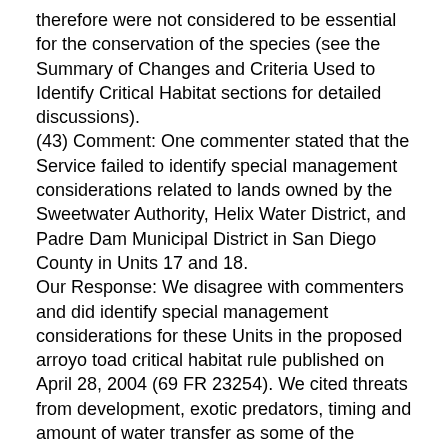therefore were not considered to be essential for the conservation of the species (see the Summary of Changes and Criteria Used to Identify Critical Habitat sections for detailed discussions).
(43) Comment: One commenter stated that the Service failed to identify special management considerations related to lands owned by the Sweetwater Authority, Helix Water District, and Padre Dam Municipal District in San Diego County in Units 17 and 18.
Our Response: We disagree with commenters and did identify special management considerations for these Units in the proposed arroyo toad critical habitat rule published on April 28, 2004 (69 FR 23254). We cited threats from development, exotic predators, timing and amount of water transfer as some of the threats that require special management considerations.
(44) Comment: One commenter stated that we should reconsider revising essential upland habitat in San Juan Creek for the arroyo toad to only capture the floodplain